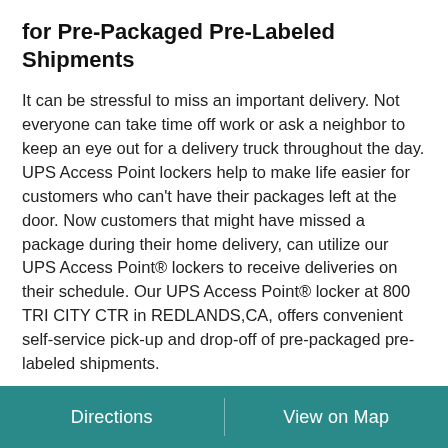for Pre-Packaged Pre-Labeled Shipments
It can be stressful to miss an important delivery. Not everyone can take time off work or ask a neighbor to keep an eye out for a delivery truck throughout the day. UPS Access Point lockers help to make life easier for customers who can't have their packages left at the door. Now customers that might have missed a package during their home delivery, can utilize our UPS Access Point® lockers to receive deliveries on their schedule. Our UPS Access Point® locker at 800 TRI CITY CTR in REDLANDS,CA, offers convenient self-service pick-up and drop-off of pre-packaged pre-labeled shipments.
Convenient Self-Service Lockers
UPS Access Point® lockers help you get a fast and secure
Directions | View on Map